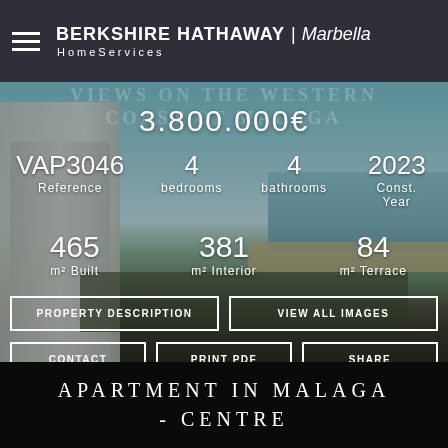BERKSHIRE HATHAWAY HomeServices | Marbella
[Figure (photo): Aerial/street view of a modern apartment building along Malaga coast with beach, palm trees, and sea visible in background]
VIEWS ON THE WESTERN COAST OF MALAGA
3.800.000€
VAP3046 Reference
4 bedrooms
4 bathrooms
2023 Const. Year
465 m² Built
381 m² Interior
84 m² Terrace
PROPERTY DESCRIPTION
VIEW ALL IMAGES
CONTACT
PRINT PDF
SHARE
APARTMENT IN MALAGA - CENTRE